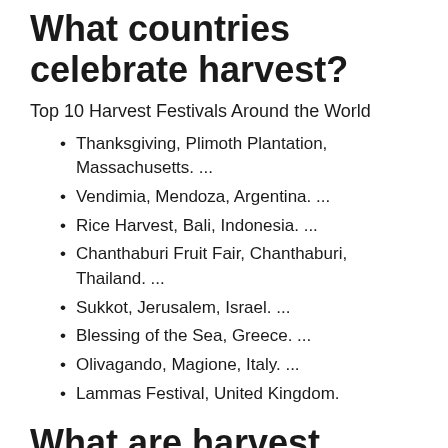What countries celebrate harvest?
Top 10 Harvest Festivals Around the World
Thanksgiving, Plimoth Plantation, Massachusetts. ...
Vendimia, Mendoza, Argentina. ...
Rice Harvest, Bali, Indonesia. ...
Chanthaburi Fruit Fair, Chanthaburi, Thailand. ...
Sukkot, Jerusalem, Israel. ...
Blessing of the Sea, Greece. ...
Olivagando, Magione, Italy. ...
Lammas Festival, United Kingdom.
What are harvest festivals in world?